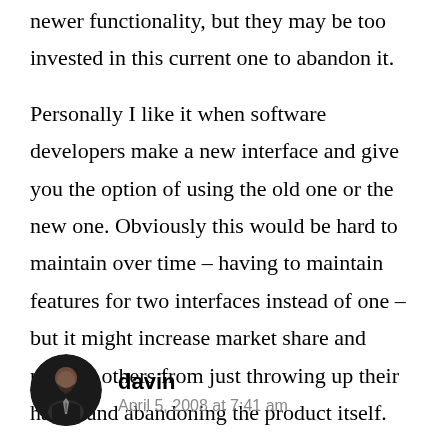newer functionality, but they may be too invested in this current one to abandon it.
Personally I like it when software developers make a new interface and give you the option of using the old one or the new one. Obviously this would be hard to maintain over time – having to maintain features for two interfaces instead of one – but it might increase market share and prevent others from just throwing up their hands and abandoning the product itself.
davin
April 5, 2008 at 7:41 am